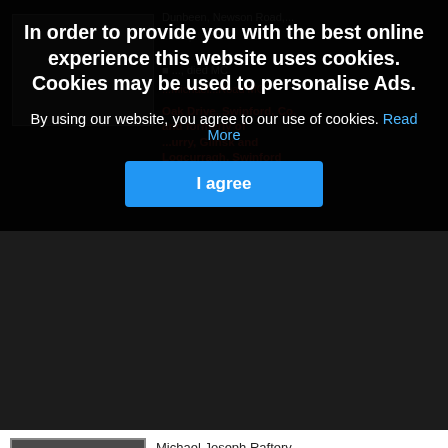[Figure (screenshot): Cookie consent overlay on a dark background showing a website obituary/death notices page. The overlay has a bold white title about cookies, a body text with a blue 'Read More' link, and a blue 'I agree' button. Below and behind the overlay: a photo of an elderly man (Michael Joseph Raftery) and partial text about him, a dashed separator, then another photo of an elderly man (John James Maloney) with his death notice details.]
In order to provide you with the best online experience this website uses cookies. Cookies may be used to personalise Ads.
By using our website, you agree to our use of cookies. Read More
I agree
Michael Joseph Raftery,
15 Oak Drive, Swinford, Co.
Mayo and formerly of Ballincurry,…
Aug 31, 2022
John James Maloney, Gorse Grove, Foxford
John James Maloney,
Gorse Grove, Foxford.
Predeceased by his parents Tom and Kathleen